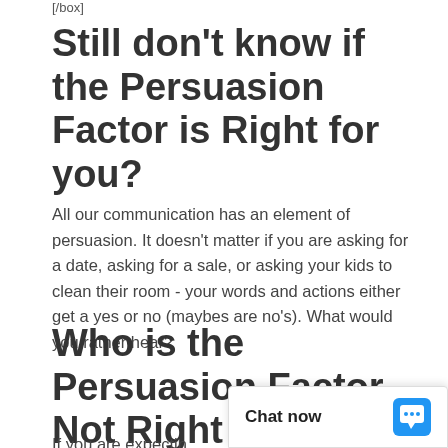[/box]
Still don't know if the Persuasion Factor is Right for you?
All our communication has an element of persuasion. It doesn't matter if you are asking for a date, asking for a sale, or asking your kids to clean their room - your words and actions either get a yes or no (maybes are no's). What would you rather hear?
Who is the Persuasion Factor Not Right For?
If you are expectin
[Figure (screenshot): Chat now widget overlay in bottom right corner with chat bubble icon]